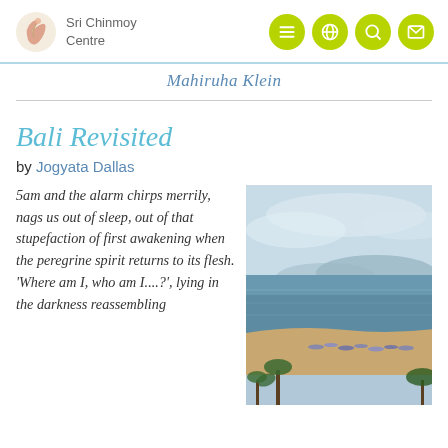Sri Chinmoy Centre
Mahiruha Klein
Bali Revisited
by Jogyata Dallas
5am and the alarm chirps merrily, nags us out of sleep, out of that stupefaction of first awakening when the peregrine spirit returns to its flesh. 'Where am I, who am I....?', lying in the darkness reassembling
[Figure (photo): Aerial or elevated view of a Bali beach with boats lined up on the shore, ocean, coastline with mountains in the distance, and palm trees in the foreground.]